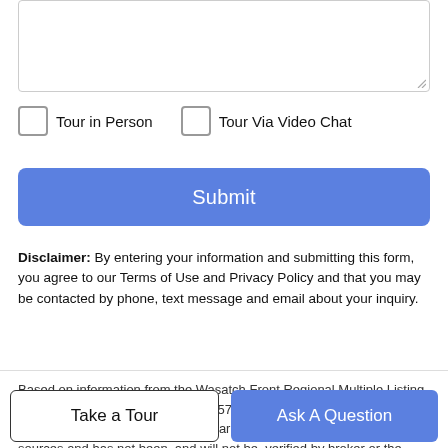[Figure (screenshot): Text area input box with resize handle in bottom-right corner]
Tour in Person
Tour Via Video Chat
Submit
Disclaimer: By entering your information and submitting this form, you agree to our Terms of Use and Privacy Policy and that you may be contacted by phone, text message and email about your inquiry.
Based on information from the Wasatch Front Regional Multiple Listing Service, Inc. as of 2022-09-03T04:57:58.423. All data, including all measurements and calculations of area, is obtained from various sources and has not been, and will not be, verified by broker or the MLS. All information should be independently
Take a Tour
Ask A Question